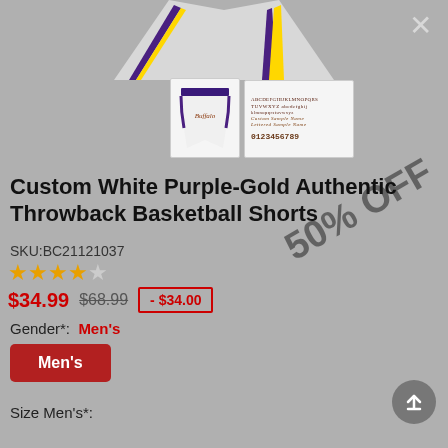[Figure (photo): Product image area showing basketball jersey top and thumbnail images of shorts and font style sheet]
Custom White Purple-Gold Authentic Throwback Basketball Shorts
SKU:BC21121037
[Figure (infographic): 4.5 out of 5 stars rating shown as gold star icons]
$34.99  $68.99  - $34.00
[Figure (infographic): 50% OFF diagonal stamp overlay]
Gender*:  Men's
Men's (button)
Size Men's*: